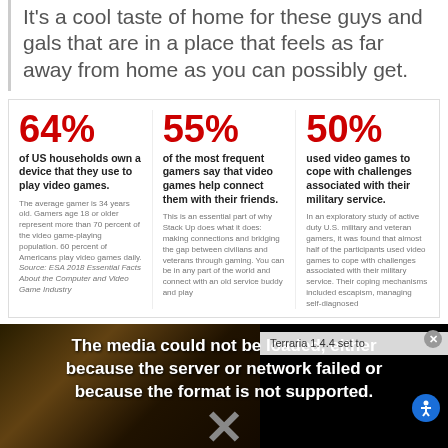It's a cool taste of home for these guys and gals that are in a place that feels as far away from home as you can possibly get.
[Figure (infographic): Three-column statistics infographic: 64% of US households own a device that they use to play video games. 55% of the most frequent gamers say that video games help connect them with their friends. 50% used video games to cope with challenges associated with their military service.]
[Figure (screenshot): Media player error overlay: 'The media could not be loaded, either because the server or network failed or because the format is not supported.' with an X dismiss button. Title bar shows 'Terraria 1.4.4 set to'.]
do with those here and not overseas?
SM: That's a big problem because when you're